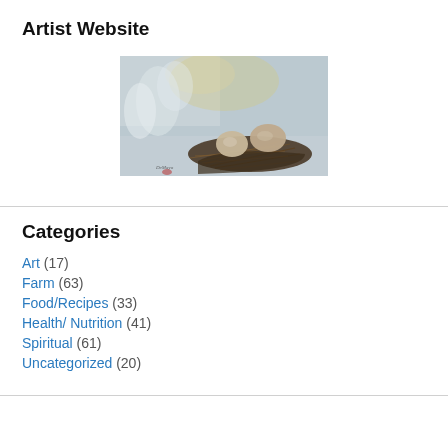Artist Website
[Figure (illustration): A painting of two eggs resting in a nest made of straw and twigs, against a soft blue-grey background with loose brushstrokes suggesting feathers or foliage.]
Categories
Art (17)
Farm (63)
Food/Recipes (33)
Health/ Nutrition (41)
Spiritual (61)
Uncategorized (20)